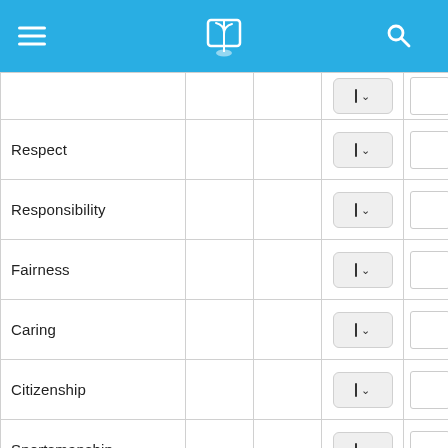Navigation header with hamburger menu, logo, and search icon
|  |  |  | Dropdown | Input |
| --- | --- | --- | --- | --- |
|  |  |  | |v |  |
| Respect |  |  | |v |  |
| Responsibility |  |  | |v |  |
| Fairness |  |  | |v |  |
| Caring |  |  | |v |  |
| Citizenship |  |  | |v |  |
| Sportsmanship |  |  | |v |  |